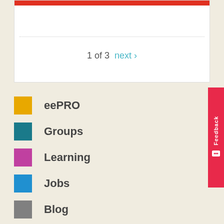[Figure (other): White card with red top bar, dotted divider line, and pagination showing '1 of 3  next ›']
1 of 3   next ›
eePRO
Groups
Learning
Jobs
Blog
Calendar
Opportunities